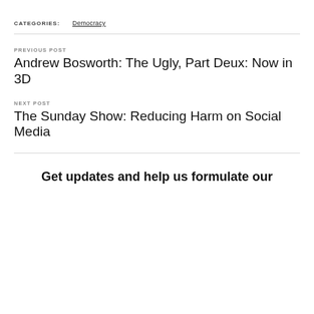CATEGORIES: Democracy
PREVIOUS POST
Andrew Bosworth: The Ugly, Part Deux: Now in 3D
NEXT POST
The Sunday Show: Reducing Harm on Social Media
Get updates and help us formulate our